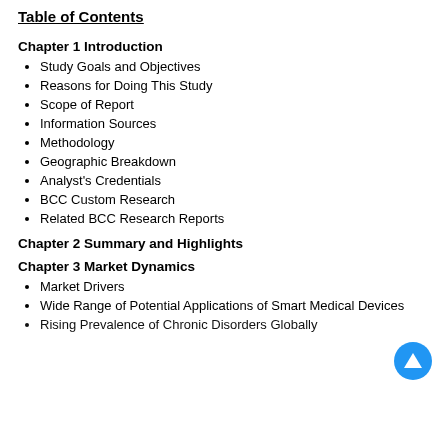Table of Contents
Chapter 1 Introduction
Study Goals and Objectives
Reasons for Doing This Study
Scope of Report
Information Sources
Methodology
Geographic Breakdown
Analyst's Credentials
BCC Custom Research
Related BCC Research Reports
Chapter 2 Summary and Highlights
Chapter 3 Market Dynamics
Market Drivers
Wide Range of Potential Applications of Smart Medical Devices
Rising Prevalence of Chronic Disorders Globally